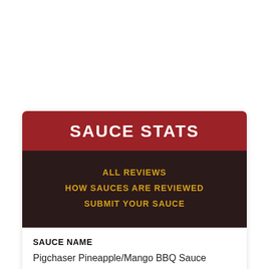SAUCE STATS
ALL REVIEWS
HOW SAUCES ARE REVIEWED
SUBMIT YOUR SAUCE
SAUCE NAME
Pigchaser Pineapple/Mango BBQ Sauce
PRODUCED BY